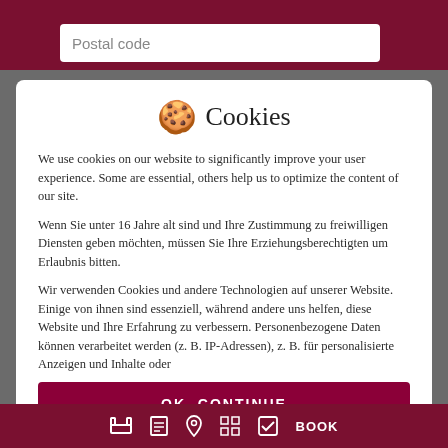Postal code
Cookies
We use cookies on our website to significantly improve your user experience. Some are essential, others help us to optimize the content of our site.
Wenn Sie unter 16 Jahre alt sind und Ihre Zustimmung zu freiwilligen Diensten geben möchten, müssen Sie Ihre Erziehungsberechtigten um Erlaubnis bitten.
Wir verwenden Cookies und andere Technologien auf unserer Website. Einige von ihnen sind essenziell, während andere uns helfen, diese Website und Ihre Erfahrung zu verbessern. Personenbezogene Daten können verarbeitet werden (z. B. IP-Adressen), z. B. für personalisierte Anzeigen und Inhalte oder
OK, CONTINUE
Nur essenzielle Cookies akzeptieren